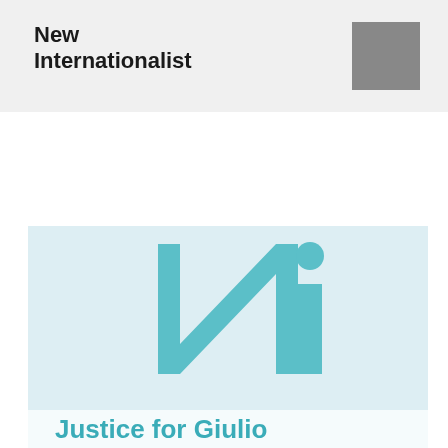New Internationalist
Buy this magazine
[Figure (logo): New Internationalist 'Ni' logo in teal on a light blue background]
Justice for Giulio